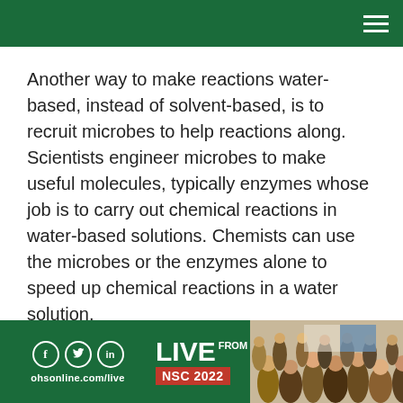Another way to make reactions water-based, instead of solvent-based, is to recruit microbes to help reactions along. Scientists engineer microbes to make useful molecules, typically enzymes whose job is to carry out chemical reactions in water-based solutions. Chemists can use the microbes or the enzymes alone to speed up chemical reactions in a water solution.
« previous 1 2 next »
[Figure (infographic): Advertisement banner for ohsonline.com/live showing LIVE FROM NSC 2022 with social media icons (Facebook, Twitter, LinkedIn) and a crowd photo from the event.]